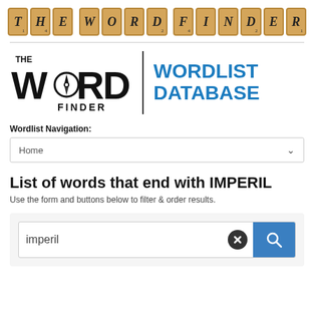[Figure (logo): The Word Finder logo rendered as Scrabble tiles spelling THE WORD FINDER]
[Figure (logo): The Word Finder | Wordlist Database logo with black word-finder mark and blue WORDLIST DATABASE text]
Wordlist Navigation:
Home
List of words that end with IMPERIL
Use the form and buttons below to filter & order results.
imperil